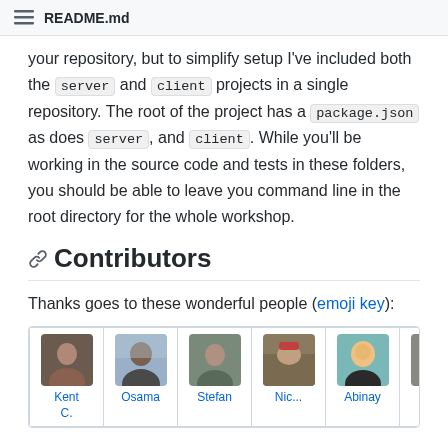README.md
your repository, but to simplify setup I've included both the server and client projects in a single repository. The root of the project has a package.json as does server, and client. While you'll be working in the source code and tests in these folders, you should be able to leave you command line in the root directory for the whole workshop.
Contributors
Thanks goes to these wonderful people (emoji key):
| Kent C. | Osama | Stefan | Nick | Abinay | Ph |
| --- | --- | --- | --- | --- | --- |
| [photo] | [photo] | [photo] | [photo] | [photo] | [photo] |